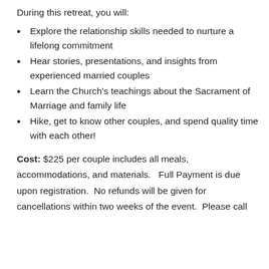During this retreat, you will:
Explore the relationship skills needed to nurture a lifelong commitment
Hear stories, presentations, and insights from experienced married couples
Learn the Church's teachings about the Sacrament of Marriage and family life
Hike, get to know other couples, and spend quality time with each other!
Cost: $225 per couple includes all meals, accommodations, and materials.   Full Payment is due upon registration.  No refunds will be given for cancellations within two weeks of the event.  Please call